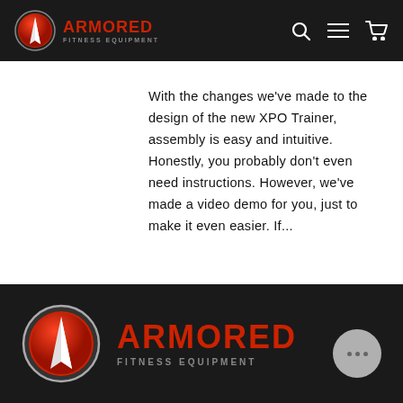Armored Fitness Equipment — navigation bar with logo, search, menu, and cart icons
With the changes we've made to the design of the new XPO Trainer, assembly is easy and intuitive. Honestly, you probably don't even need instructions. However, we've made a video demo for you, just to make it even easier. If...
[Figure (logo): Armored Fitness Equipment footer logo — large red ARMORED text with FITNESS EQUIPMENT subtitle and circular shield emblem]